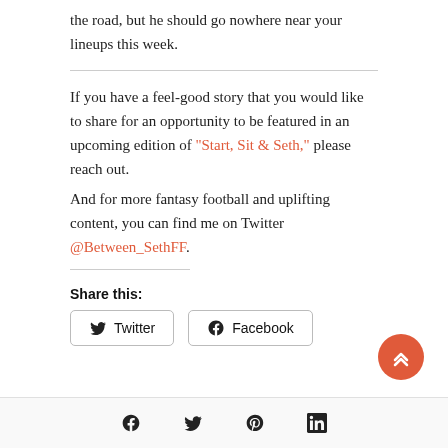the road, but he should go nowhere near your lineups this week.
If you have a feel-good story that you would like to share for an opportunity to be featured in an upcoming edition of “Start, Sit & Seth,” please reach out.
And for more fantasy football and uplifting content, you can find me on Twitter @Between_SethFF.
Share this:
[Figure (other): Share buttons: Twitter and Facebook]
[Figure (other): Floating back-to-top button (chevron up, salmon/red circle)]
Social media icons: Facebook, Twitter, Pinterest, LinkedIn